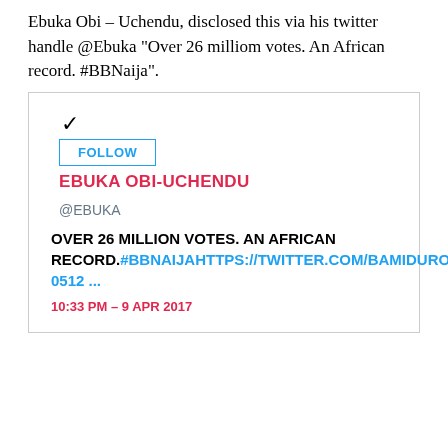Ebuka Obi – Uchendu, disclosed this via his twitter handle @Ebuka "Over 26 milliom votes. An African record. #BBNaija".
[Figure (screenshot): Embedded tweet screenshot showing @EBUKA Twitter profile with FOLLOW button, username EBUKA OBI-UCHENDU in red, handle @EBUKA, tweet text 'OVER 26 MILLION VOTES. AN AFRICAN RECORD.#BBNAIJAHTTPS://TWITTER.COM/BAMIDUROLAOLU/STATUS/85117546099424 0512 ...' with link in blue, and timestamp '10:33 PM – 9 APR 2017' in red.]